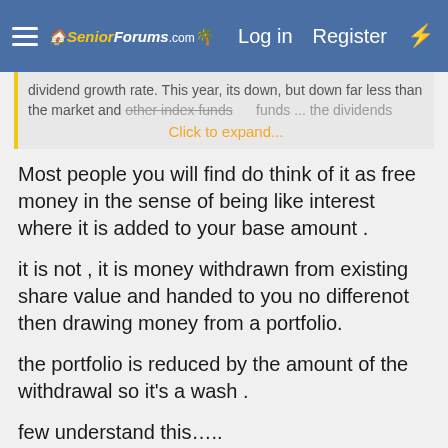SeniorForums.com | Log in | Register
dividend growth rate. This year, its down, but down far less than the market and other index funds... the dividends...
Most people you will find do think of it as free money in the sense of being like interest where it is added to your base amount .
it is not , it is money withdrawn from existing share value and handed to you no differenot then drawing money from a portfolio.
the portfolio is reduced by the amount of the withdrawal so it's a wash .
few understand this…..